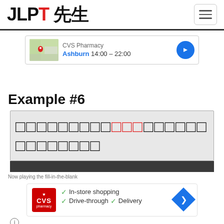JLPT 先生
[Figure (screenshot): Google Maps card showing CVS Pharmacy in Ashburn, hours 14:00–22:00 with navigation arrow button]
Example #6
[Figure (screenshot): Japanese language fill-in-the-blank sentence with red highlighted characters in the middle, on a gray background box]
[Figure (screenshot): CVS Pharmacy Google listing card showing In-store shopping, Drive-through, Delivery checkmarks with navigation arrow, info icon, and X icon below]